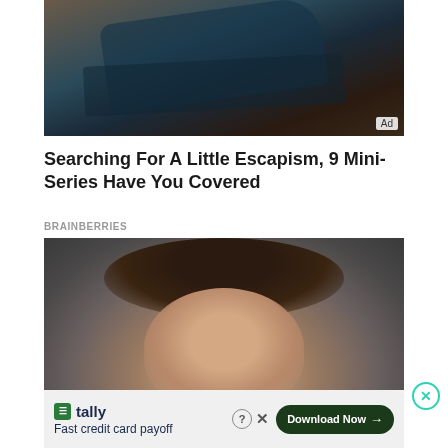[Figure (photo): A person wearing a dark teal/blue long-sleeve shirt, crawling or reaching through what appears to be a doorway or low opening, photographed from a dramatic angle. 'Ad' badge in bottom-right corner.]
Searching For A Little Escapism, 9 Mini-Series Have You Covered
BRAINBERRIES
[Figure (photo): Close-up portrait of a young woman with long dark wavy hair, light eyes, and subtle makeup, shot against a gray background.]
[Figure (infographic): Tally advertisement banner: Tally logo (green square icon), 'tally' brand name, 'Fast credit card payoff' tagline, a '?' help icon, 'X' close button, and a dark green 'Download Now →' button.]